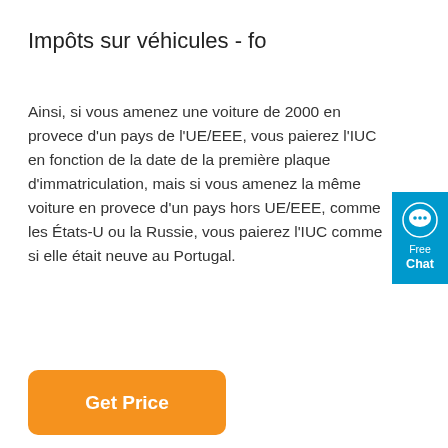Impôts sur véhicules - fo
Ainsi, si vous amenez une voiture de 2000 en provece d'un pays de l'UE/EEE, vous paierez l'IUC en fonction de la date de la première plaque d'immatriculation, mais si vous amenez la même voiture en provece d'un pays hors UE/EEE, comme les États-U ou la Russie, vous paierez l'IUC comme si elle était neuve au Portugal.
[Figure (other): Orange 'Get Price' button]
[Figure (other): Blue Free Chat widget on right side]